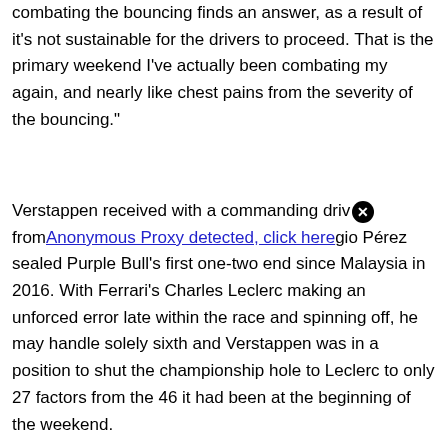combating the bouncing finds an answer, as a result of it's not sustainable for the drivers to proceed. That is the primary weekend I've actually been combating my again, and nearly like chest pains from the severity of the bouncing."
Verstappen received with a commanding driv [close] from [Anonymous Proxy detected, click here] pole place and with teammate Sergio Pérez sealed Purple Bull's first one-two end since Malaysia in 2016. With Ferrari's Charles Leclerc making an unforced error late within the race and spinning off, he may handle solely sixth and Verstappen was in a position to shut the championship hole to Leclerc to only 27 factors from the 46 it had been at the beginning of the weekend.